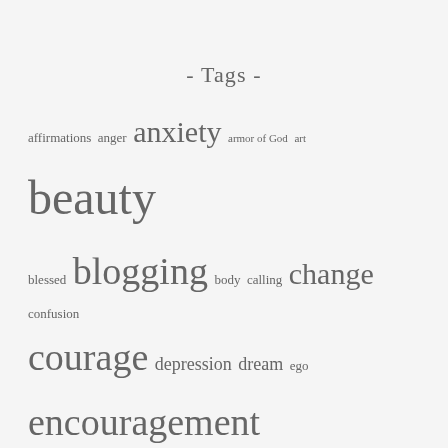- Tags -
affirmations anger anxiety armor of God art beauty blessed blogging body calling change confusion courage depression dream ego encouragement energy faith fear forgiveness friends fun gifts god grace gratitude growth habits happy healing help hope imagine language law of attraction listen love meditation mind mindfulness miracle mother nature New Beginnings opinion patience peace photography plan poetry